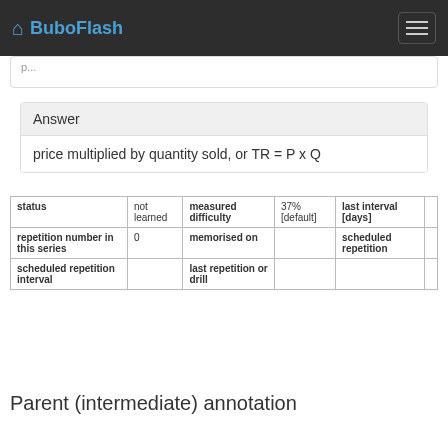BuboFlash
Answer
price multiplied by quantity sold, or TR = P x Q
| status | not learned | measured difficulty | 37% [default] | last interval [days] |  |
| repetition number in this series | 0 | memorised on |  | scheduled repetition |  |
| scheduled repetition interval |  | last repetition or drill |  |  |  |
Parent (intermediate) annotation